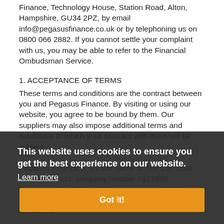Finance, Technology House, Station Road, Alton, Hampshire, GU34 2PZ, by email info@pegasusfinance.co.uk or by telephoning us on 0800 066 2882. If you cannot settle your complaint with us, you may be able to refer to the Financial Ombudsman Service.
1. ACCEPTANCE OF TERMS
These terms and conditions are the contract between you and Pegasus Finance. By visiting or using our website, you agree to be bound by them. Our suppliers may also impose additional terms and conditions to which your contract with them will be subject.
Pegasus Finance is a trade name of The Car Loan Warehouse Ltd, company number 8127935 incorporated in England, whose registered address is Technology House, Station Road, Alton, Hampshire, GU34 2PZ.
These are the website terms and conditions of The Car Loan Conditions Ltd. Please read these Terms and Conditions carefully, they set out the
[Figure (other): Cookie consent overlay with dark semi-transparent background, text 'This website uses cookies to ensure you get the best experience on our website.', a 'Learn more' link, and an orange 'Got it!' button.]